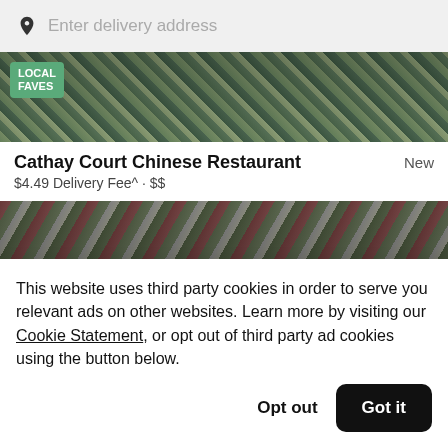Enter delivery address
[Figure (photo): Food image banner showing local faves with bowls of Chinese food, with LOCAL FAVES badge overlay]
Cathay Court Chinese Restaurant
New
$4.49 Delivery Fee^ · $$
[Figure (photo): Second food image banner showing Chinese dishes]
This website uses third party cookies in order to serve you relevant ads on other websites. Learn more by visiting our Cookie Statement, or opt out of third party ad cookies using the button below.
Opt out
Got it